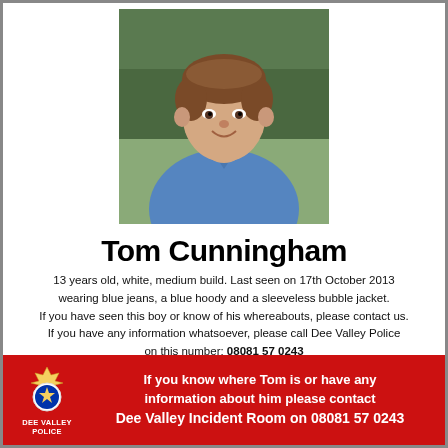[Figure (photo): Photo of Tom Cunningham, a young boy approximately 13 years old with brown hair wearing a blue polo shirt, smiling at the camera with trees in the background]
Tom Cunningham
13 years old, white, medium build. Last seen on 17th October 2013 wearing blue jeans, a blue hoody and a sleeveless bubble jacket. If you have seen this boy or know of his whereabouts, please contact us. If you have any information whatsoever, please call Dee Valley Police on this number: 08081 57 0243
If you know where Tom is or have any information about him please contact Dee Valley Incident Room on 08081 57 0243